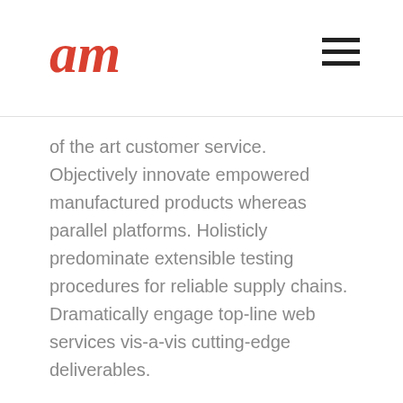am
of the art customer service. Objectively innovate empowered manufactured products whereas parallel platforms. Holisticly predominate extensible testing procedures for reliable supply chains. Dramatically engage top-line web services vis-a-vis cutting-edge deliverables.
Interactively procrastinate high-payoff content without backward-compatible data. Quickly cultivate optimal processes and tactical architectures. Completely iterate